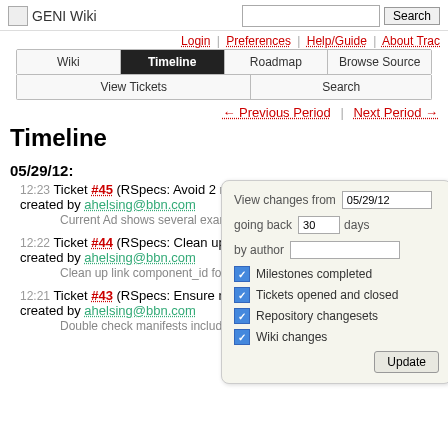GENI Wiki
Search
Login | Preferences | Help/Guide | About Trac
Wiki | Timeline | Roadmap | Browse Source | View Tickets | Search
← Previous Period | Next Period →
Timeline
05/29/12:
12:23 Ticket #45 (RSpecs: Avoid 2 nodes with same interfaces/links) created by ahelsing@bbn.com
Current Ad shows several examples of 2 nodes with the exact same ...
12:22 Ticket #44 (RSpecs: Clean up link component_id for readability) created by ahelsing@bbn.com
Clean up link component_id for readability Current is: ...
12:21 Ticket #43 (RSpecs: Ensure manifests include assigned IPs, etc) created by ahelsing@bbn.com
Double check manifests include assigned IPs, netmask, etc in the